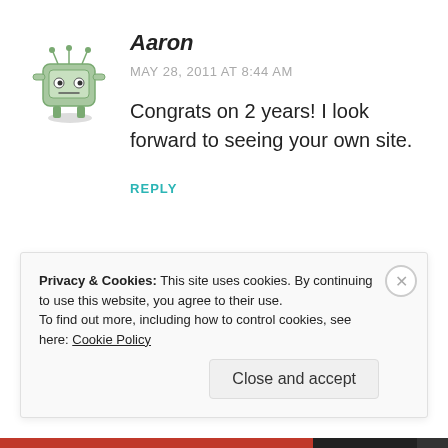[Figure (illustration): Cartoon avatar of a square robot/monster character with antennae, googly eyes, and legs, in light green/teal color]
Aaron
MAY 28, 2011 AT 8:44 AM
Congrats on 2 years! I look forward to seeing your own site.
REPLY
Privacy & Cookies: This site uses cookies. By continuing to use this website, you agree to their use.
To find out more, including how to control cookies, see here: Cookie Policy
Close and accept